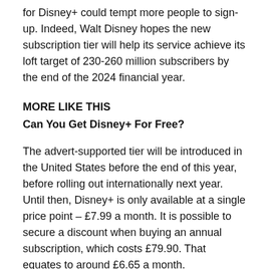for Disney+ could tempt more people to sign-up. Indeed, Walt Disney hopes the new subscription tier will help its service achieve its loft target of 230-260 million subscribers by the end of the 2024 financial year.
MORE LIKE THIS
Can You Get Disney+ For Free?
The advert-supported tier will be introduced in the United States before the end of this year, before rolling out internationally next year. Until then, Disney+ is only available at a single price point – £7.99 a month. It is possible to secure a discount when buying an annual subscription, which costs £79.90. That equates to around £6.65 a month.
“Expanding access to Disney+ to a broader audience at a lower price point is a win for everyone – consumers,